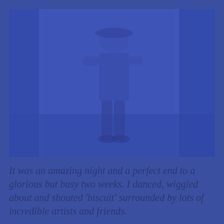[Figure (photo): A person standing indoors, partially silhouetted in a blue-tinted photograph. The image has a strong blue color overlay giving it a monochromatic blue tone. The background shows shelves or furniture.]
It was an amazing night and a perfect end to a glorious but busy two weeks. I danced, wiggled about and shouted 'biscuit' surrounded by lots of incredible artists and friends.